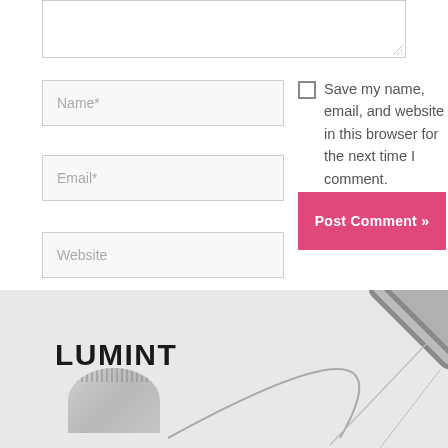[Figure (screenshot): Partial view of a comment form text area (top portion visible) with resize handle in bottom right corner]
Name*
Save my name, email, and website in this browser for the next time I comment.
Email*
Post Comment »
Website
[Figure (photo): LUMINT brand image showing a silver arc floor lamp against a white wall with architectural line drawings]